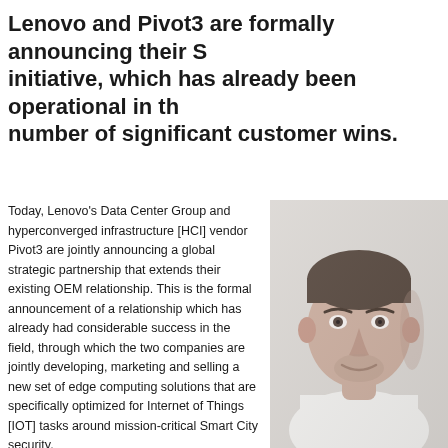Lenovo and Pivot3 are formally announcing their S initiative, which has already been operational in th number of significant customer wins.
Today, Lenovo's Data Center Group and hyperconverged infrastructure [HCI] vendor Pivot3 are jointly announcing a global strategic partnership that extends their existing OEM relationship. This is the formal announcement of a relationship which has already had considerable success in the field, through which the two companies are jointly developing, marketing and selling a new set of edge computing solutions that are specifically optimized for Internet of Things [IOT] tasks around mission-critical Smart City security.
[Figure (photo): Headshot photo of a man in a white shirt, with short dark hair and facial stubble, on a light background]